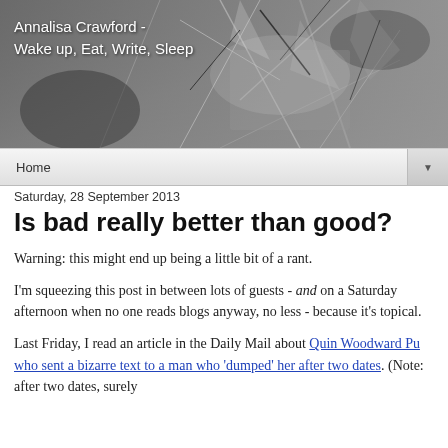[Figure (photo): Black and white photo of broken glass or shattered material used as blog header banner]
Annalisa Crawford -
Wake up, Eat, Write, Sleep
Home
Saturday, 28 September 2013
Is bad really better than good?
Warning: this might end up being a little bit of a rant.
I'm squeezing this post in between lots of guests - and on a Saturday afternoon when no one reads blogs anyway, no less - because it's topical.
Last Friday, I read an article in the Daily Mail about Quin Woodward Pu who sent a bizarre text to a man who 'dumped' her after two dates. (Note: after two dates, surely